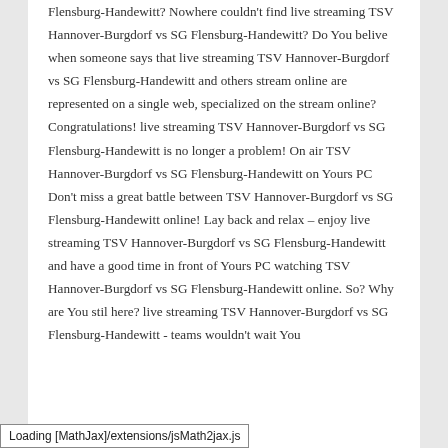Flensburg-Handewitt? Nowhere couldn't find live streaming TSV Hannover-Burgdorf vs SG Flensburg-Handewitt? Do You belive when someone says that live streaming TSV Hannover-Burgdorf vs SG Flensburg-Handewitt and others stream online are represented on a single web, specialized on the stream online? Congratulations! live streaming TSV Hannover-Burgdorf vs SG Flensburg-Handewitt is no longer a problem! On air TSV Hannover-Burgdorf vs SG Flensburg-Handewitt on Yours PC Don't miss a great battle between TSV Hannover-Burgdorf vs SG Flensburg-Handewitt online! Lay back and relax – enjoy live streaming TSV Hannover-Burgdorf vs SG Flensburg-Handewitt and have a good time in front of Yours PC watching TSV Hannover-Burgdorf vs SG Flensburg-Handewitt online. So? Why are You stil here? live streaming TSV Hannover-Burgdorf vs SG Flensburg-Handewitt - teams wouldn't wait You
Loading [MathJax]/extensions/jsMath2jax.js